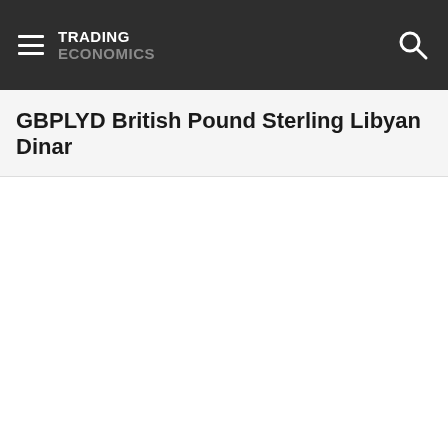TRADING ECONOMICS
GBPLYD British Pound Sterling Libyan Dinar